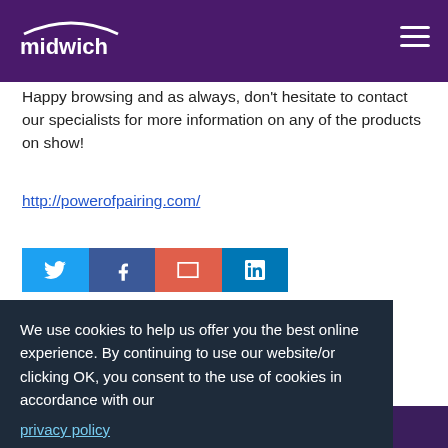midwich
Happy browsing and as always, don't hesitate to contact our specialists for more information on any of the products on show!
http://powerofpairing.com/
[Figure (other): Social sharing buttons row: Twitter (blue), Facebook (dark blue), Email (red), LinkedIn (light blue)]
We use cookies to help us offer you the best online experience. By continuing to use our website/or clicking OK, you consent to the use of cookies in accordance with our privacy policy
OK
ARTICLES
Recent	Popular